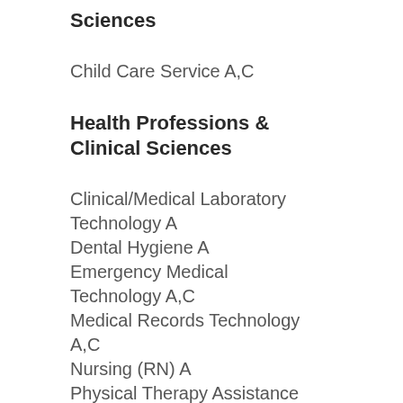Sciences
Child Care Service A,C
Health Professions & Clinical Sciences
Clinical/Medical Laboratory Technology A
Dental Hygiene A
Emergency Medical Technology A,C
Medical Records Technology A,C
Nursing (RN) A
Physical Therapy Assistance A
Premedicine A
Surgical Technology A,C